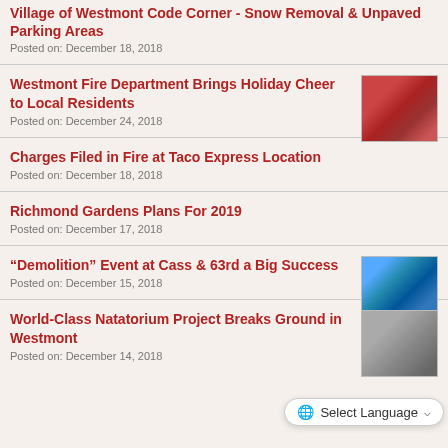Village of Westmont Code Corner - Snow Removal & Unpaved Parking Areas
Posted on: December 18, 2018
Westmont Fire Department Brings Holiday Cheer to Local Residents
Posted on: December 24, 2018
[Figure (photo): Photo of firefighters/Santa with local residents]
Charges Filed in Fire at Taco Express Location
Posted on: December 18, 2018
Richmond Gardens Plans For 2019
Posted on: December 17, 2018
“Demolition” Event at Cass & 63rd a Big Success
Posted on: December 15, 2018
[Figure (photo): Photo of demolition event at Cass & 63rd]
World-Class Natatorium Project Breaks Ground in Westmont
Posted on: December 14, 2018
[Figure (photo): Photo of natatorium groundbreaking]